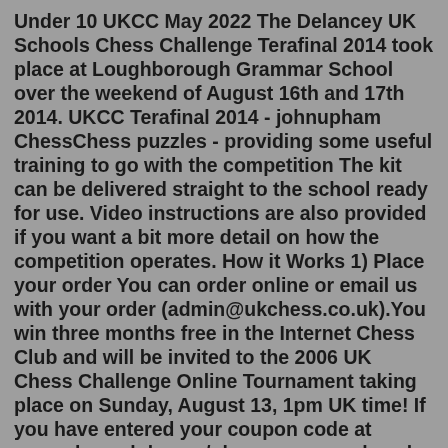Under 10 UKCC May 2022 The Delancey UK Schools Chess Challenge Terafinal 2014 took place at Loughborough Grammar School over the weekend of August 16th and 17th 2014. UKCC Terafinal 2014 - johnupham ChessChess puzzles - providing some useful training to go with the competition The kit can be delivered straight to the school ready for use. Video instructions are also provided if you want a bit more detail on how the competition operates. How it Works 1) Place your order You can order online or email us with your order (admin@ukchess.co.uk).You win three months free in the Internet Chess Club and will be invited to the 2006 UK Chess Challenge Online Tournament taking place on Sunday, August 13, 1pm UK time! If you have entered your coupon code at www.chessclub.com/ukcc you were placed in the UKCC group (check this by entering "finger").the largest schools chess challenge in the world chess challenge, sk8 3br Frimley Junior Chess Club has entered the Delancey UK Schools Chess Challenge for